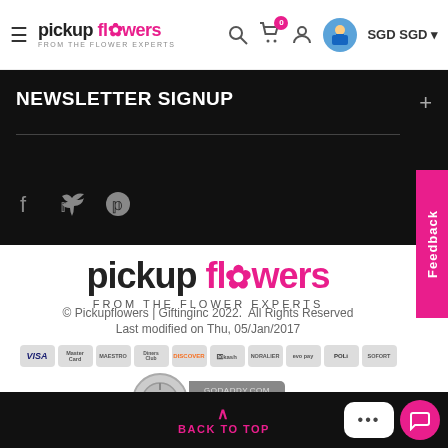pickup flowers FROM THE FLOWER EXPERTS — SGD SGD navigation bar
NEWSLETTER SIGNUP
[Figure (screenshot): Social media icons: Facebook, Twitter, Pinterest]
[Figure (logo): Pickup Flowers logo large — pickup flowers FROM THE FLOWER EXPERTS]
© Pickupflowers | Giftinginc 2022.  All Rights Reserved
Last modified on Thu, 05/Jan/2017
[Figure (other): Payment method icons: VISA, MasterCard, Maestro, Diners Club, DISCOVER, Okash, Nopaleri, Evo Pay, POLi, Sofort]
[Figure (other): GoDaddy.com Secured — Click to Verify badge]
BACK TO TOP